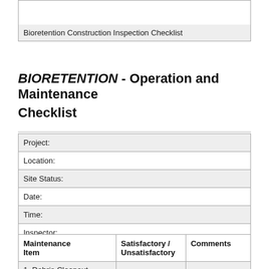|  |
| Bioretention Construction Inspection Checklist |
BIORETENTION - Operation and Maintenance Checklist
| Project: |
| Location: |
| Site Status: |
| Date: |
| Time: |
| Inspector: |
| Maintenance Item | Satisfactory / Unsatisfactory | Comments |
| --- | --- | --- |
| 1. Debris Cleanout (Monthly) |  |  |